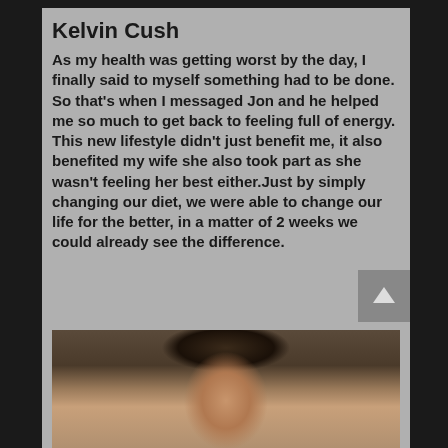Kelvin Cush
As my health was getting worst by the day, I finally said to myself something had to be done. So that's when I messaged Jon and he helped me so much to get back to feeling full of energy. This new lifestyle didn't just benefit me, it also benefited my wife she also took part as she wasn't feeling her best either.Just by simply changing our diet, we were able to change our life for the better, in a matter of 2 weeks we could already see the difference.
[Figure (photo): Photo of a man with dark hair, photographed from approximately chest up, in what appears to be an indoor setting with a table/lamp visible in the background.]